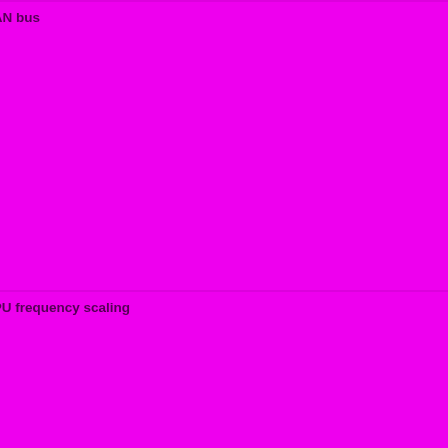| Feature | Status |
| --- | --- |
|  | WIP=orange | Untested=yellow | N/A=lightgray yellow }}" | OK |
| CAN bus | OK=lime | TODO=red | No=red | WIP=orange | Untested=yellow | N/A=lightgray yellow }}" | N/A |
| CPU frequency scaling | OK=lime | TODO=red | No=red | WIP=orange | Untested=yellow | N/A=lightgray yellow }}" | OK |
| Other powersaving features | OK=lime | TODO=red | No=red | WIP=orange | Untested=yellow | N/A=lightgra |